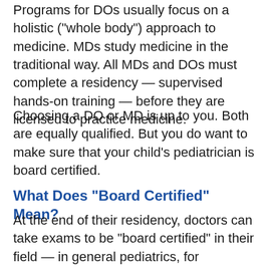Programs for DOs usually focus on a holistic ("whole body") approach to medicine. MDs study medicine in the traditional way. All MDs and DOs must complete a residency — supervised hands-on training — before they are licensed to practice medicine.
Choosing a DO or MD is up to you. Both are equally qualified. But you do want to make sure that your child's pediatrician is board certified.
What Does "Board Certified" Mean?
At the end of their residency, doctors can take exams to be "board certified" in their field — in general pediatrics, for example, or in a pediatric specialty like orthopedics. These exams are set by the governing body in a field of medicine, like the AAP, and they're not easy to pass.